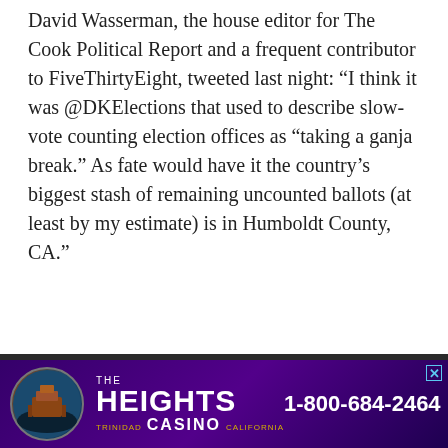David Wasserman, the house editor for The Cook Political Report and a frequent contributor to FiveThirtyEight, tweeted last night: “I think it was @DKElections that used to describe slow-vote counting election offices as “taking a ganja break.” As fate would have it the country’s biggest stash of remaining uncounted ballots (at least by my estimate) is in Humboldt County, CA.”
““ I think it was @DKElections that used to describe slow-vote counting election offices as "taking a ganja break."

As fate would have it the country’s biggest stash of
[Figure (infographic): Advertisement banner for The Heights Casino in Trinidad, California with phone number 1-800-684-2464 on a purple/dark background with a circular logo showing a building.]